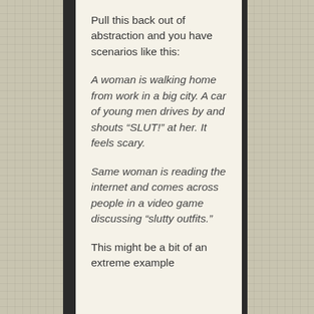Pull this back out of abstraction and you have scenarios like this:
A woman is walking home from work in a big city. A car of young men drives by and shouts “SLUT!” at her. It feels scary.
Same woman is reading the internet and comes across people in a video game discussing “slutty outfits.”
This might be a bit of an extreme example